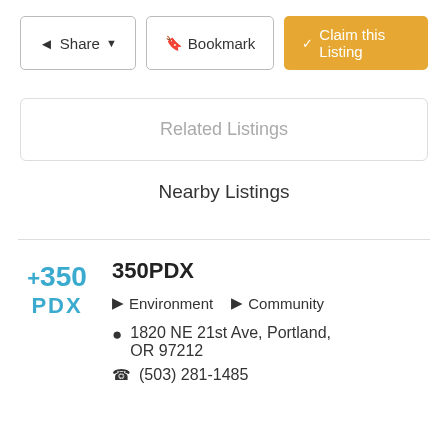Share | Bookmark | Claim this Listing
Related Listings
Nearby Listings
350PDX
Environment  Community
1820 NE 21st Ave, Portland, OR 97212
(503) 281-1485